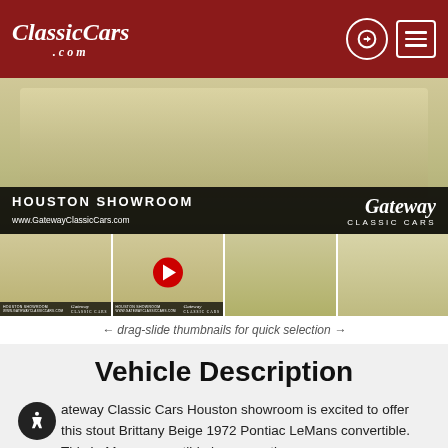ClassicCars.com
[Figure (photo): 1972 Pontiac LeMans convertible in Brittany Beige at the Gateway Classic Cars Houston Showroom]
[Figure (photo): Four thumbnail images of the 1972 Pontiac LeMans, including a YouTube video play button thumbnail]
← drag-slide thumbnails for quick selection →
Vehicle Description
Gateway Classic Cars Houston showroom is excited to offer this stout Brittany Beige 1972 Pontiac LeMans convertible. This LeMans convertible has recently been thoroughly and accurately updated with lots of rare old